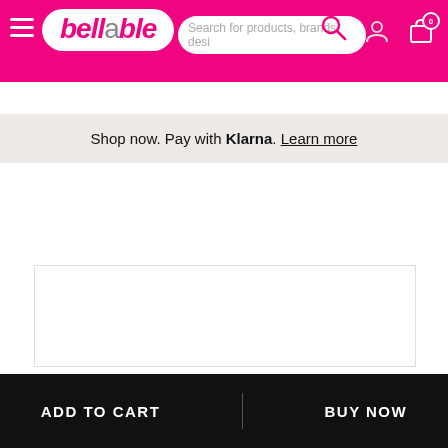bellable — navigation bar with search, user, and cart icons
Shop now. Pay with Klarna. Learn more
[Figure (photo): White product image area on a white/light background]
ADD TO CART    BUY NOW